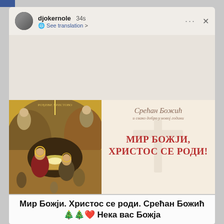[Figure (screenshot): Instagram/Facebook story screenshot showing user 'djokernole' posted 34 seconds ago with a See translation option. The story contains a Serbian Orthodox Christmas icon painting on the left (Nativity scene) and on the right a cream/beige card with Serbian Cyrillic text 'Срећан Божић и свако добро у новој години' in italic script and 'МИР БОЖЈИ, ХРИСТОС СЕ РОДИ!' in bold red Cyrillic letters, with a faint cross watermark. Below the image a caption reads 'Мир Божји. Христос се роди. Срећан Божић 🎄🎄❤️ Нека вас Божја...']